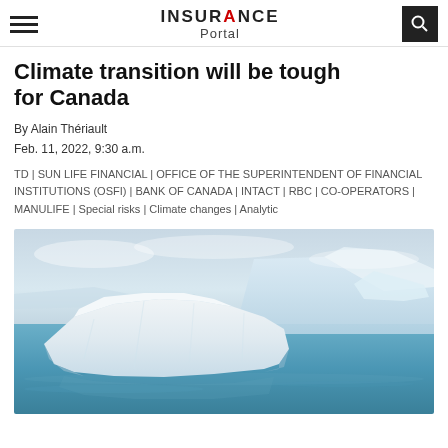INSURANCE Portal
Climate transition will be tough for Canada
By Alain Thériault
Feb. 11, 2022, 9:30 a.m.
TD | SUN LIFE FINANCIAL | OFFICE OF THE SUPERINTENDENT OF FINANCIAL INSTITUTIONS (OSFI) | BANK OF CANADA | INTACT | RBC | CO-OPERATORS | MANULIFE | Special risks | Climate changes | Analytic
[Figure (photo): Large iceberg floating in calm arctic water with smaller ice formations in the background under an overcast sky]